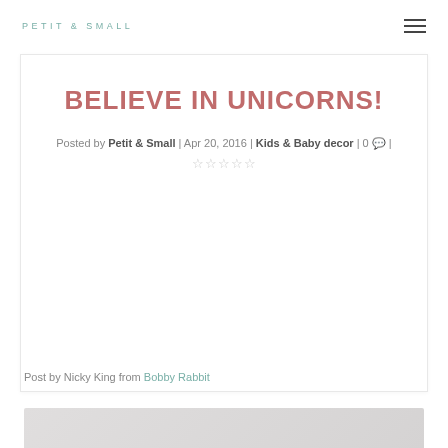PETIT & SMALL
BELIEVE IN UNICORNS!
Posted by Petit & Small | Apr 20, 2016 | Kids & Baby decor | 0 💬 | ★★★★★
Post by Nicky King from Bobby Rabbit
[Figure (photo): Gray/white textured image strip at bottom of page]